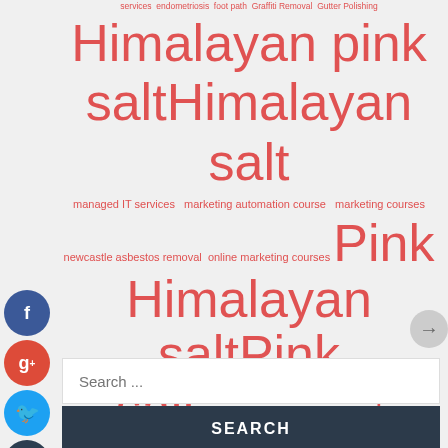[Figure (infographic): Tag cloud with various keywords in different sizes, all in red/coral color, on a light gray background. Keywords include: services, endometriosis, foot path, Graffiti Removal, Gutter Polishing, Himalayan pink salt, Himalayan salt, managed IT services, marketing automation course, marketing courses, newcastle asbestos removal, online marketing courses, Pink Himalayan salt, Pink salt, podiatry, pure Dead Sea salt, Responsive Web Design, roofing contractor, roofing contractors, seo, truffle salt, truffle sea salt, web design, web design company, web design services, Website Designer Near Me]
Search ...
SEARCH